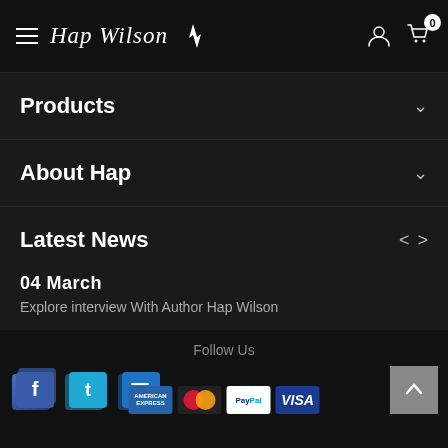Hap Wilson
Products
About Hap
Latest News
04 March
Explore interview With Author Hap Wilson
Follow Us
[Figure (infographic): Social media icons: Facebook (blue cube with f), Twitter (blue cube with t), and a third blue cube with social icon]
[Figure (infographic): Payment icons: American Express, Mastercard, PayPal, VISA]
Follow Us